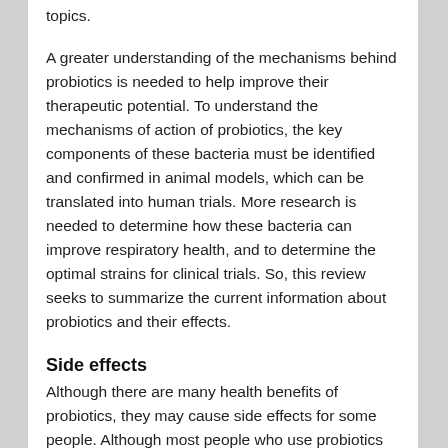topics.
A greater understanding of the mechanisms behind probiotics is needed to help improve their therapeutic potential. To understand the mechanisms of action of probiotics, the key components of these bacteria must be identified and confirmed in animal models, which can be translated into human trials. More research is needed to determine how these bacteria can improve respiratory health, and to determine the optimal strains for clinical trials. So, this review seeks to summarize the current information about probiotics and their effects.
Side effects
Although there are many health benefits of probiotics, they may cause side effects for some people. Although most people who use probiotics have no adverse reactions, some people may experience allergic reactions to the bacteria that make up the pills. These symptoms may include itchiness, diarrhea, and even headaches. So, it is time to discuss research on